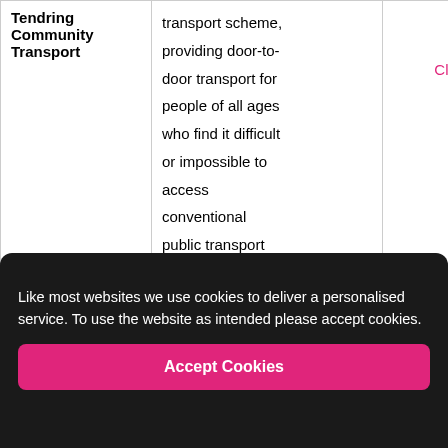| Service | Description | Link |
| --- | --- | --- |
| Tendring Community Transport | transport scheme, providing door-to-door transport for people of all ages who find it difficult or impossible to access conventional public transport | Click here |
| Essex Local Offer | Gives details of all services available in Tendring to young people with SEN aged 0-25 | Click here |
Like most websites we use cookies to deliver a personalised service. To use the website as intended please accept cookies.